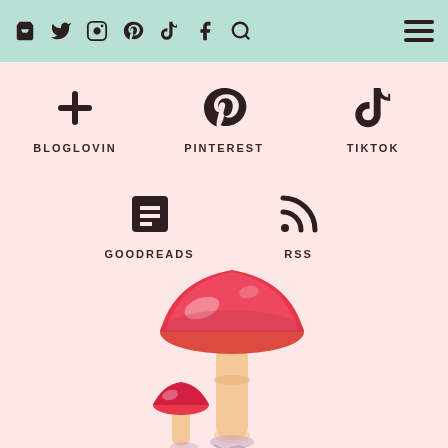Navigation bar with social icons: bag, twitter, instagram, pinterest, tiktok, facebook, search, hamburger menu
[Figure (infographic): Social media link icons grid: BLOGLOVIN (plus icon), PINTEREST (pinterest icon), TIKTOK (tiktok icon), GOODREADS (book icon), RSS (rss icon) on pink background]
[Figure (illustration): Colorful fantasy mushroom illustration with large pink/red cap and smaller mushroom beside it, on pink background]